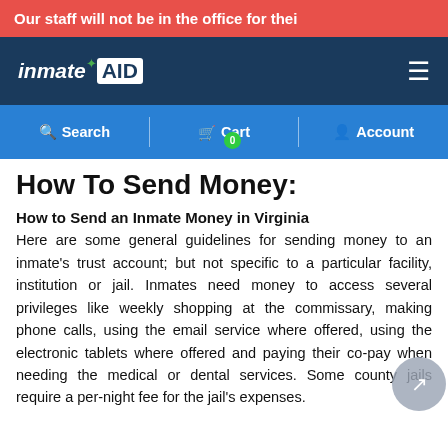Our staff will not be in the office for thei
[Figure (logo): inmateAID logo with green star, white text on dark navy background, with hamburger menu icon on the right]
Search | Cart 0 | Account
How To Send Money:
How to Send an Inmate Money in Virginia
Here are some general guidelines for sending money to an inmate's trust account; but not specific to a particular facility, institution or jail. Inmates need money to access several privileges like weekly shopping at the commissary, making phone calls, using the email service where offered, using the electronic tablets where offered and paying their co-pay when needing the medical or dental services. Some county jails require a per-night fee for the jail's expenses.